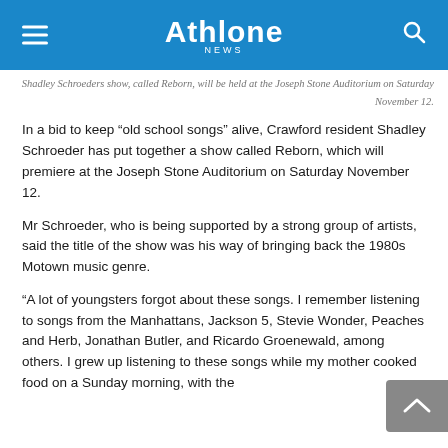Athlone
Shadley Schroeders show, called Reborn, will be held at the Joseph Stone Auditorium on Saturday November 12.
In a bid to keep “old school songs” alive, Crawford resident Shadley Schroeder has put together a show called Reborn, which will premiere at the Joseph Stone Auditorium on Saturday November 12.
Mr Schroeder, who is being supported by a strong group of artists, said the title of the show was his way of bringing back the 1980s Motown music genre.
“A lot of youngsters forgot about these songs. I remember listening to songs from the Manhattans, Jackson 5, Stevie Wonder, Peaches and Herb, Jonathan Butler, and Ricardo Groenewald, among others. I grew up listening to these songs while my mother cooked food on a Sunday morning, with the